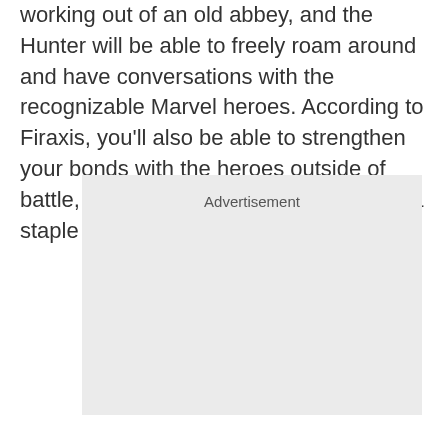working out of an old abbey, and the Hunter will be able to freely roam around and have conversations with the recognizable Marvel heroes. According to Firaxis, you'll also be able to strengthen your bonds with the heroes outside of battle, definitely not something that was a staple of XCOM games.
[Figure (other): Advertisement placeholder box with light gray background and 'Advertisement' label at the top center]